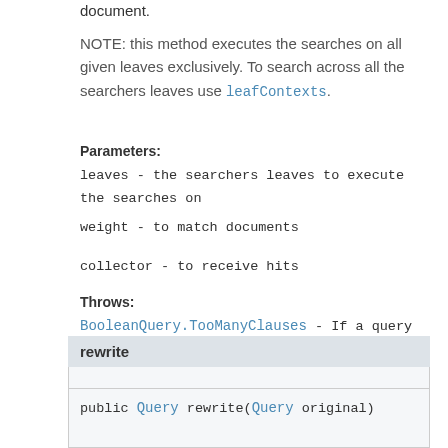document.
NOTE: this method executes the searches on all given leaves exclusively. To search across all the searchers leaves use leafContexts.
Parameters:
leaves - the searchers leaves to execute the searches on
weight - to match documents
collector - to receive hits
Throws:
BooleanQuery.TooManyClauses - If a query would exceed BooleanQuery.getMaxClauseCount() clauses.
IOException
rewrite
public Query rewrite(Query original)